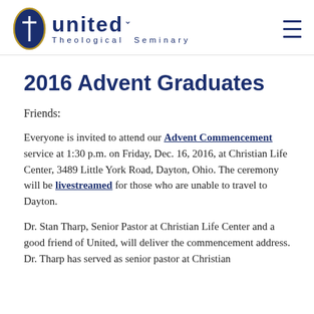United Theological Seminary
2016 Advent Graduates
Friends:
Everyone is invited to attend our Advent Commencement service at 1:30 p.m. on Friday, Dec. 16, 2016, at Christian Life Center, 3489 Little York Road, Dayton, Ohio. The ceremony will be livestreamed for those who are unable to travel to Dayton.
Dr. Stan Tharp, Senior Pastor at Christian Life Center and a good friend of United, will deliver the commencement address. Dr. Tharp has served as senior pastor at Christian